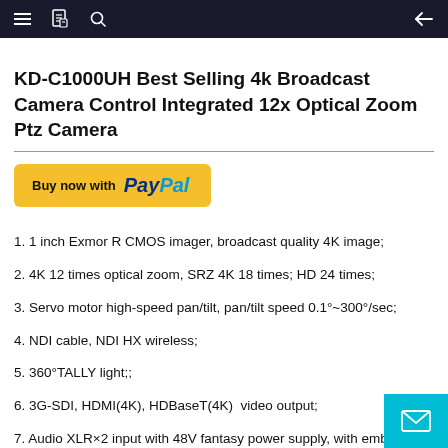Navigation bar with hamburger menu, book icon, search icon, and back arrow
KD-C1000UH Best Selling 4k Broadcast Camera Control Integrated 12x Optical Zoom Ptz Camera
[Figure (other): Buy now with PayPal button (yellow rounded rectangle)]
1. 1 inch Exmor R CMOS imager, broadcast quality 4K image;
2. 4K 12 times optical zoom, SRZ 4K 18 times; HD 24 times;
3. Servo motor high-speed pan/tilt, pan/tilt speed 0.1°~300°/sec;
4. NDI cable, NDI HX wireless;
5. 360°TALLY light;;
6. 3G-SDI, HDMI(4K), HDBaseT(4K)  video output;
7. Audio XLR×2 input with 48V fantasy power supply, with embedded aud